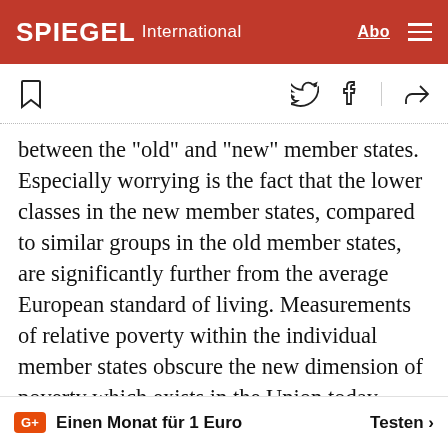SPIEGEL International
between the "old" and "new" member states. Especially worrying is the fact that the lower classes in the new member states, compared to similar groups in the old member states, are significantly further from the average European standard of living. Measurements of relative poverty within the individual member states obscure the new dimension of poverty which exists in the Union today. Similarly, high rates of growth within some ofthe new member states should not lead us to believe that the generation of wealth has reached all members ofsociety. The middle cl… growing very slowly in
Einen Monat für 1 Euro   Testen >